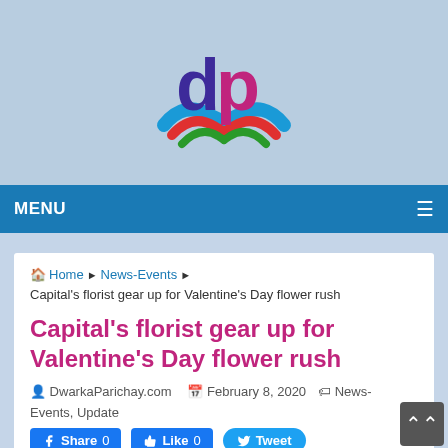[Figure (logo): DwarkaParichay.com logo — stylized 'dp' letters in purple and magenta with colorful wave/feather design in blue, red, green]
MENU
Home › News-Events › Capital's florist gear up for Valentine's Day flower rush
Capital's florist gear up for Valentine's Day flower rush
DwarkaParichay.com  February 8, 2020  News-Events, Update